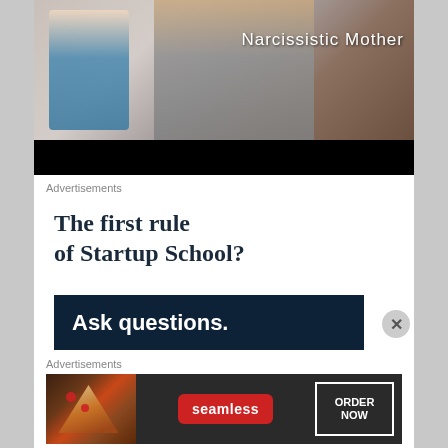[Figure (photo): Top portion of an article page showing a video thumbnail: two women, one in a blue top with blonde hair, one in a grey hoodie. White text overlay reads 'Narcissistic Mother'. Below the image is a black video player bar.]
Advertisements
[Figure (infographic): Advertisement for Y Combinator Startup School. White background with dark navy text: 'The first rule of Startup School?' followed by a dark navy banner with white bold text: 'Ask questions.']
Advertisements
[Figure (photo): Seamless food delivery advertisement banner showing pizza slices on the left, Seamless logo in red in the center, and 'ORDER NOW' button on the right, all on a dark background.]